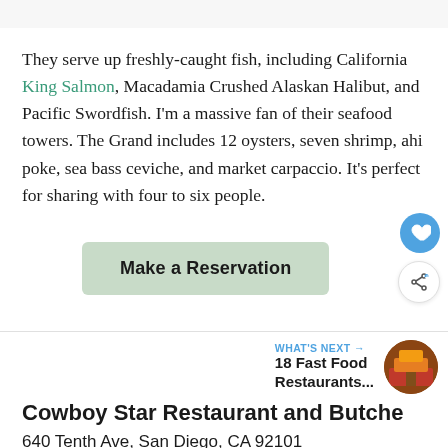They serve up freshly-caught fish, including California King Salmon, Macadamia Crushed Alaskan Halibut, and Pacific Swordfish. I'm a massive fan of their seafood towers. The Grand includes 12 oysters, seven shrimp, ahi poke, sea bass ceviche, and market carpaccio. It's perfect for sharing with four to six people.
[Figure (other): Make a Reservation button (light green/sage background), with a heart icon button (blue circle) and a share icon button (white circle with share symbol) on the right side]
[Figure (other): WHAT'S NEXT arrow label with thumbnail image of a restaurant and text: 18 Fast Food Restaurants...]
Cowboy Star Restaurant and Butcher
640 Tenth Ave, San Diego, CA 92101